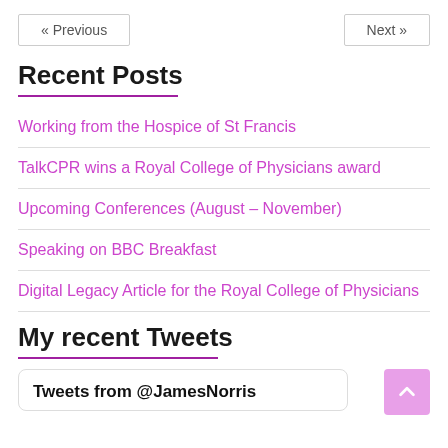« Previous   Next »
Recent Posts
Working from the Hospice of St Francis
TalkCPR wins a Royal College of Physicians award
Upcoming Conferences (August – November)
Speaking on BBC Breakfast
Digital Legacy Article for the Royal College of Physicians
My recent Tweets
Tweets from @JamesNorris